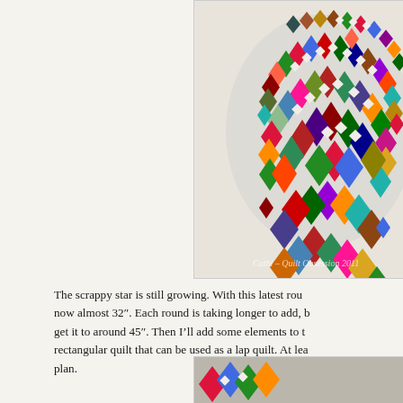[Figure (photo): A colorful scrappy star quilt in progress, showing a circular medallion of small patchwork pieces in many colors arranged in a starburst pattern on a white background. Watermark reads 'Cathi - Quilt Obsession 2011'.]
The scrappy star is still growing. With this latest rou... now almost 32". Each round is taking longer to add, b... get it to around 45". Then I'll add some elements to t... rectangular quilt that can be used as a lap quilt. At lea... plan.
[Figure (photo): Partial view of another quilt photo at the bottom of the page, cropped.]